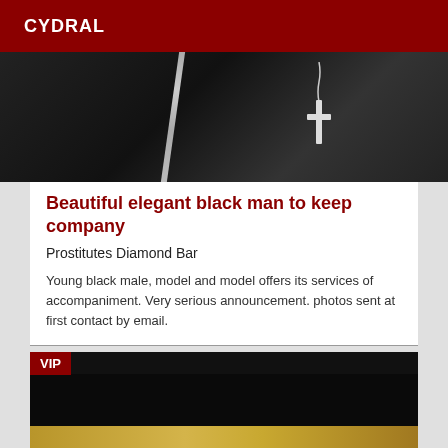CYDRAL
[Figure (photo): Close-up of a black leather jacket with a zipper and a cross pendant necklace on a chain, in dark monochrome tones.]
Beautiful elegant black man to keep company
Prostitutes Diamond Bar
Young black male, model and model offers its services of accompaniment. Very serious announcement. photos sent at first contact by email.
[Figure (photo): VIP-labeled listing thumbnail with a dark/black upper area and a golden/amber lower strip, suggesting an interior scene.]